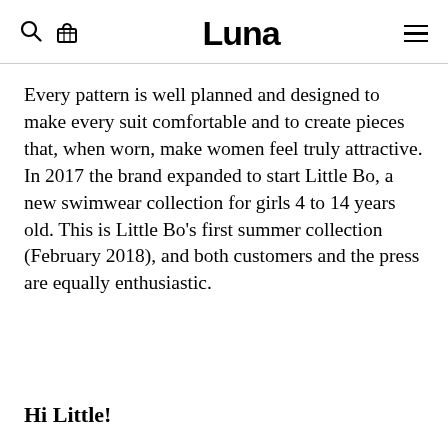Luna
Every pattern is well planned and designed to make every suit comfortable and to create pieces that, when worn, make women feel truly attractive.
In 2017 the brand expanded to start Little Bo, a new swimwear collection for girls 4 to 14 years old. This is Little Bo’s first summer collection (February 2018), and both customers and the press are equally enthusiastic.
Hi Little!